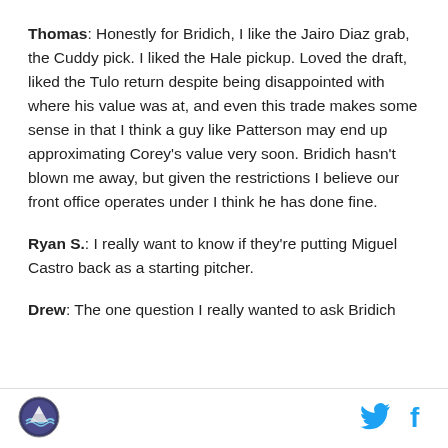Thomas: Honestly for Bridich, I like the Jairo Diaz grab, the Cuddy pick. I liked the Hale pickup. Loved the draft, liked the Tulo return despite being disappointed with where his value was at, and even this trade makes some sense in that I think a guy like Patterson may end up approximating Corey's value very soon. Bridich hasn't blown me away, but given the restrictions I believe our front office operates under I think he has done fine.
Ryan S.: I really want to know if they're putting Miguel Castro back as a starting pitcher.
Drew: The one question I really wanted to ask Bridich
[Figure (logo): Baseball team circular logo with mountain/water imagery]
[Figure (logo): Twitter bird icon in cyan]
[Figure (logo): Facebook f icon in cyan]